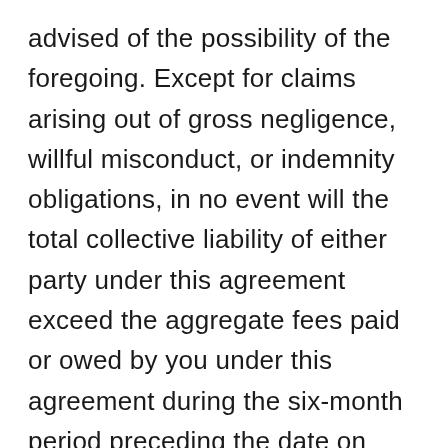advised of the possibility of the foregoing. Except for claims arising out of gross negligence, willful misconduct, or indemnity obligations, in no event will the total collective liability of either party under this agreement exceed the aggregate fees paid or owed by you under this agreement during the six-month period preceding the date on which the claim arose. In no event will this limitation apply to the amounts